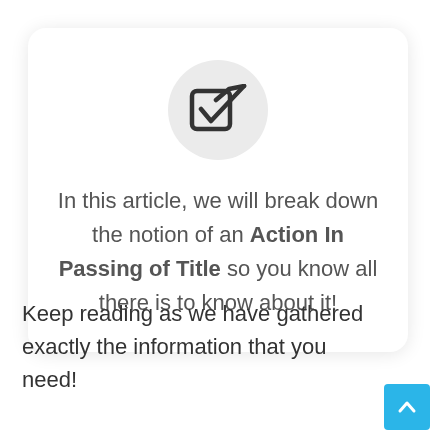[Figure (illustration): A rounded rectangle card with a light gray circle at top containing a checkbox icon (square with checkmark), followed by centered text about Action In Passing of Title]
In this article, we will break down the notion of an Action In Passing of Title so you know all there is to know about it!
Keep reading as we have gathered exactly the information that you need!